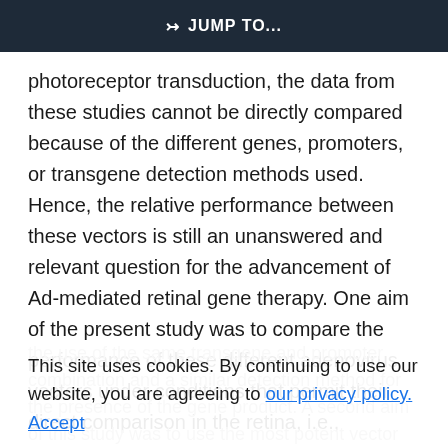JUMP TO...
photoreceptor transduction, the data from these studies cannot be directly compared because of the different genes, promoters, or transgene detection methods used. Hence, the relative performance between these vectors is still an unanswered and relevant question for the advancement of Ad-mediated retinal gene therapy. One aim of the present study was to compare the performance of these different adenovirus vectors under conditions that permit their direct comparison in the retina, i.e.,
the use of the same transgene and promoter combination and a similar detection method for the presence of the gene product. A second aim of this study was to use the most potent vector identified
This site uses cookies. By continuing to use our website, you are agreeing to our privacy policy. Accept